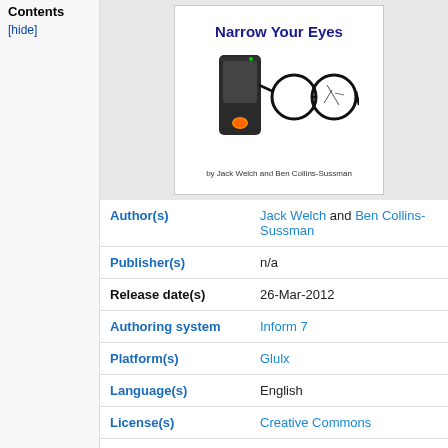Contents
[hide]
[Figure (illustration): Book cover for 'Narrow Your Eyes' by Jack Welch and Ben Collins-Sussman, showing a smartphone next to a pair of glasses with a cracked lens. Title in dark blue bold text at top, authors credited at bottom.]
| Field | Value |
| --- | --- |
| Author(s) | Jack Welch and Ben Collins-Sussman |
| Publisher(s) | n/a |
| Release date(s) | 26-Mar-2012 |
| Authoring system | Inform 7 |
| Platform(s) | Glulx |
| Language(s) | English |
| License(s) | Creative Commons |